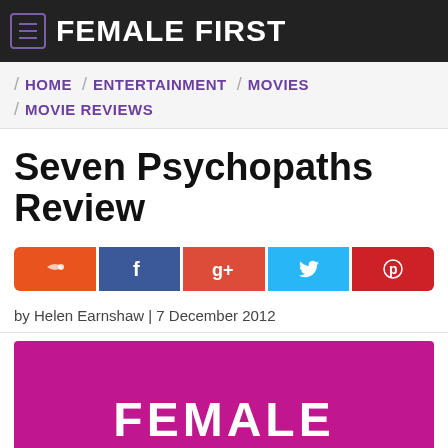FEMALE FIRST
HOME / ENTERTAINMENT / MOVIES / MOVIE REVIEWS
Seven Psychopaths Review
[Figure (infographic): Social share buttons: Stumbleupon (orange), Facebook (blue), Google+ (red-orange), Twitter (light blue), Pinterest (red)]
by Helen Earnshaw | 7 December 2012
[Figure (photo): Female First logo on magenta/pink background showing beginning of FEMALE text in white]